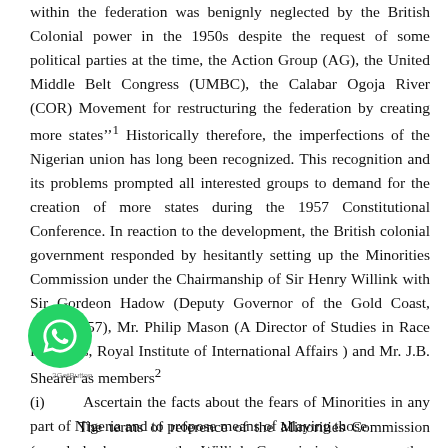within the federation was benignly neglected by the British Colonial power in the 1950s despite the request of some political parties at the time, the Action Group (AG), the United Middle Belt Congress (UMBC), the Calabar Ogoja River (COR) Movement for restructuring the federation by creating more states''1 Historically therefore, the imperfections of the Nigerian union has long been recognized. This recognition and its problems prompted all interested groups to demand for the creation of more states during the 1957 Constitutional Conference. In reaction to the development, the British colonial government responded by hesitantly setting up the Minorities Commission under the Chairmanship of Sir Henry Willink with Sir Gordeon Hadow (Deputy Governor of the Gold Coast, 1954- 1957), Mr. Philip Mason (A Director of Studies in Race Relations, Royal Institute of International Affairs ) and Mr. J.B. Shearer as members2
The terms of reference of the Minorities Commission (popularly known as the Willink Commission) among other things was mandated to
(i)     Ascertain the facts about the fears of Minorities in any part of Nigeria and to propose means of allaying those